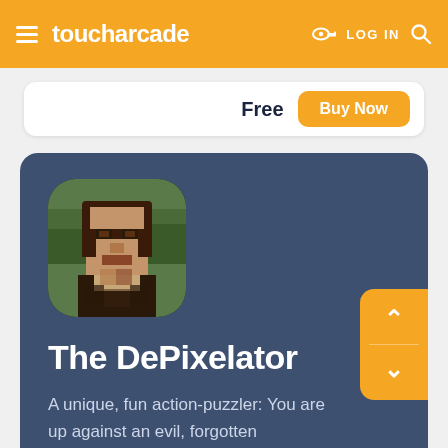toucharcade — LOG IN
Free
Buy Now
[Figure (illustration): App icon showing a pixelated/blurred version of the Mona Lisa painting with rounded square corners, on a dark background.]
The DePixelator
A unique, fun action-puzzler: You are up against an evil, forgotten supercomputer from 1983 who, for some reason, has pi...